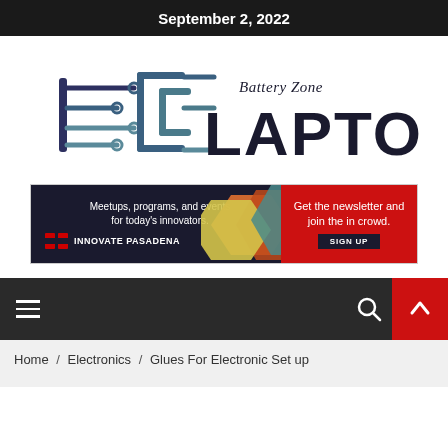September 2, 2022
[Figure (logo): Battery Zone LAPTOP logo with circuit board design on the left and large LAPTOP text on the right, with 'Battery Zone' in italic above]
[Figure (infographic): Innovate Pasadena advertisement banner: dark left section reads 'Meetups, programs, and events for today's innovators. INNOVATE PASADENA' with colored diamond shapes, red right section reads 'Get the newsletter and join the in crowd. SIGN UP']
Home / Electronics / Glues For Electronic Set up
Home / Electronics / Glues For Electronic Set up